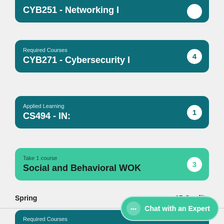CYB251 - Networking I
Required Courses 4 | CYB271 - Cybersecurity I
Applied Learning 1 | CS494 - IN:
Take 1 course 3 | Social and Behavioral WOK
Spring   15 Credits
Required Courses | CYB252 - Networking II
Chat with an Expert